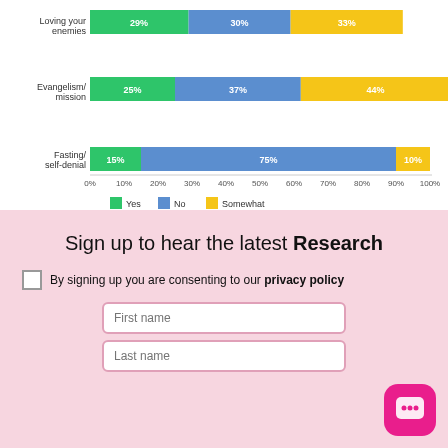[Figure (stacked-bar-chart): Partial stacked bar chart]
Sign up to hear the latest Research
By signing up you are consenting to our privacy policy
First name
Last name